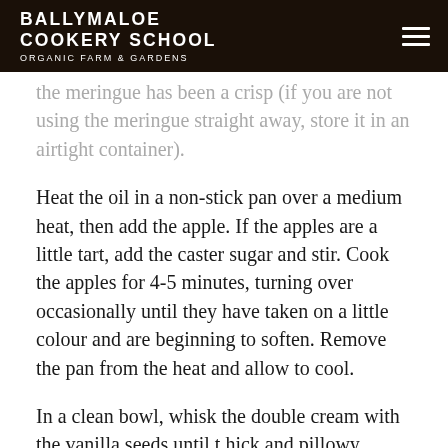BALLYMALOE COOKERY SCHOOL ORGANIC FARM & GARDENS
the meringue has been a crisp (if you are not using the meringue straight away, store it in an airtight container).
Heat the oil in a non-stick pan over a medium heat, then add the apple. If the apples are a little tart, add the caster sugar and stir. Cook the apples for 4-5 minutes, turning over occasionally until they have taken on a little colour and are beginning to soften. Remove the pan from the heat and allow to cool.
In a clean bowl, whisk the double cream with the vanilla seeds until t hick and pillowy. Spoon